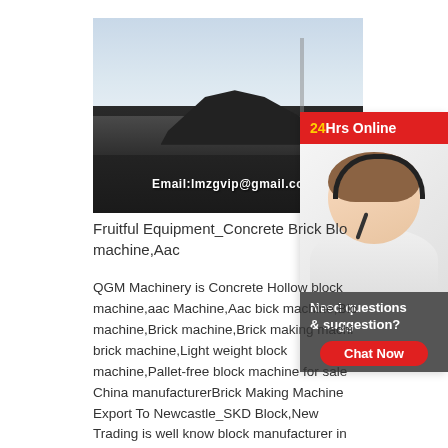[Figure (photo): Mining/quarry equipment scene showing heavy machinery on dark coal/gravel ground with pale sky. Overlaid text reads 'Email:lmzgvip@gmail.co']
[Figure (illustration): Sidebar widget: red banner '24Hrs Online', photo of female customer service agent with headset, dark grey box with 'Need questions & suggestion?' and red 'Chat Now' button]
Fruitful Equipment_Concrete Brick Blo machine,Aac
QGM Machinery is Concrete Hollow block machine,aac Machine,Aac bick machine,Blo machine,Brick machine,Brick making machi brick machine,Light weight block machine,Pallet-free block machine for sale China manufacturerBrick Making Machine Export To Newcastle_SKD Block,New Trading is well know block manufacturer in local market. Before New trading company purchased QGM brick making machine, they have 6 sets machine from Euro and South Africa. They purchased the first machine from QGM at 2015. Due to the